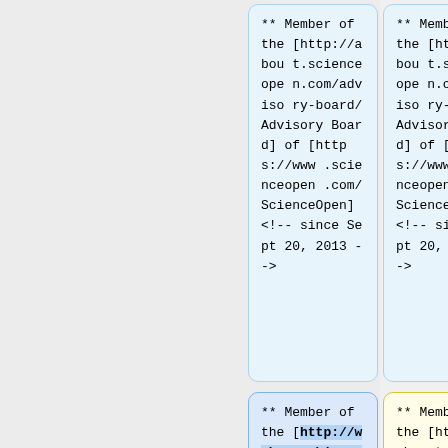** Member of the [http://about.scienceopen.com/advisory-board/ Advisory Board] of [https://www.scienceopen.com/ ScienceOpen] <!-- since Sept 20, 2013 -->
** Member of the [http://about.scienceopen.com/advisory-board/ Advisory Board] of [https://www.scienceopen.com/ ScienceOpen] <!-- since Sept 20, 2013 -->
** Member of the [https://about.openlibhums.org/about/committees/ Advisory Board] of ...
** Member of the [http://web.archive.org/web/20170209170521/https ...